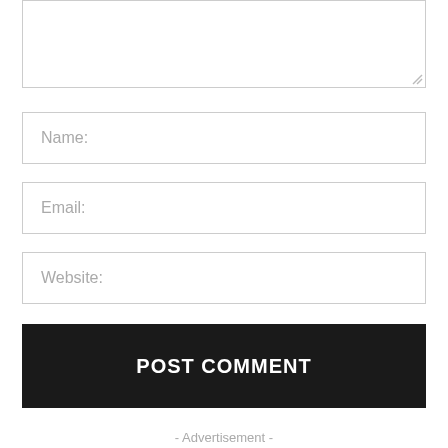[Figure (screenshot): Empty comment textarea input box with resize handle]
Name:
Email:
Website:
POST COMMENT
- Advertisement -
[Figure (logo): Black and red banner with a white shield containing a rooster silhouette]